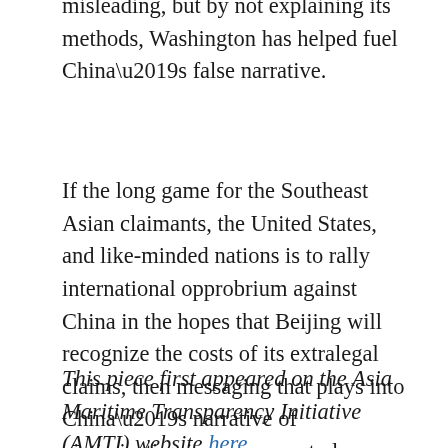misleading, but by not explaining its methods, Washington has helped fuel China’s false narrative.
If the long game for the Southeast Asian claimants, the United States, and like-minded nations is to rally international opprobrium against China in the hopes that Beijing will recognize the costs of its extralegal claims, then messaging that plays into China’s narrative of victimization is a sure way to lose.
This piece first appeared on the Asia Maritime Transparency Initiative (AMTI) website here.